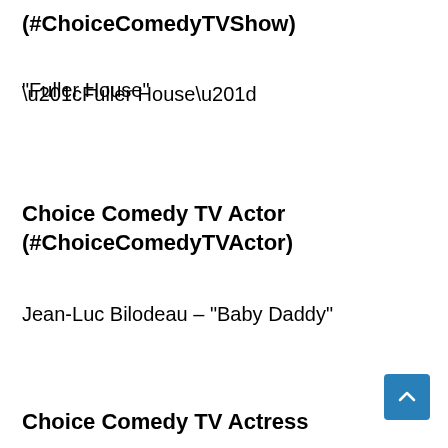(#ChoiceComedyTVShow)
“Fuller House”
Choice Comedy TV Actor (#ChoiceComedyTVActor)
Jean-Luc Bilodeau – “Baby Daddy”
Choice Comedy TV Actress